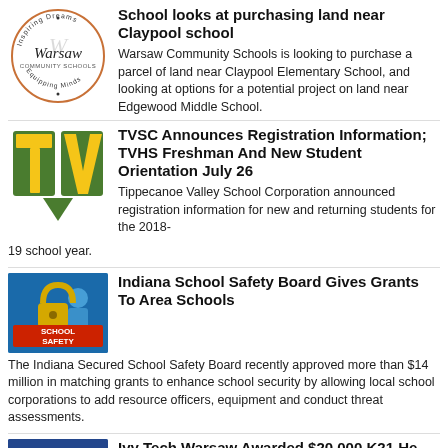[Figure (logo): Warsaw Community Schools circular logo with text 'Inspiring Dreams, Warsaw Community Schools, Equipping Minds']
School looks at purchasing land near Claypool school
Warsaw Community Schools is looking to purchase a parcel of land near Claypool Elementary School, and looking at options for a potential project on land near Edgewood Middle School.
[Figure (logo): Tippecanoe Valley TV logo — yellow and green TV letters with arrow]
TVSC Announces Registration Information; TVHS Freshman And New Student Orientation July 26
Tippecanoe Valley School Corporation announced registration information for new and returning students for the 2018-19 school year.
[Figure (photo): School Safety image with lock and people silhouettes, 'SCHOOL SAFETY' text overlay]
Indiana School Safety Board Gives Grants To Area Schools
The Indiana Secured School Safety Board recently approved more than $14 million in matching grants to enhance school security by allowing local school corporations to add resource officers, equipment and conduct threat assessments.
[Figure (photo): K21 news thumbnail with people]
Ivy Tech Warsaw Awarded $20,000 K21 He...